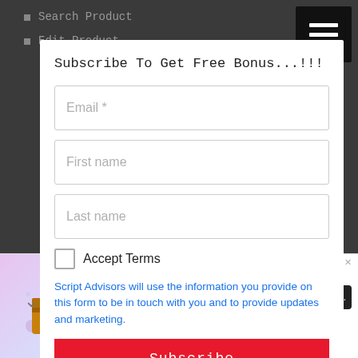Search Product
Edit Product
[Figure (screenshot): Hamburger menu icon button, black background with three white horizontal lines]
Subscribe To Get Free Bonus...!!!
Email *
First name
Last name
Accept Terms
Script Advisors will use the information you provide on this form to be in touch with you and to provide updates and marketing.
Subscribe
[Figure (screenshot): Advertisement banner for SkinBaron featuring CS:GO loot crate image, text 'Discover CS:GO Recoil Skins', button 'Jetzt Einkau...' and SkinBaron logo]